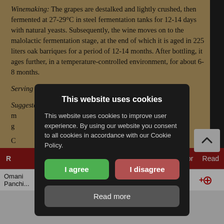Winemaking: The grapes are destalked and lightly crushed, then fermented at 27-29°C in steel fermentation tanks for 12-14 days with natural yeasts. Subsequently, the wine moves on to the malolactic fermentation stage, at the end of which it is aged in 225 liters oak barriques for a period of 12-14 months. After bottling, it ages further, in a temperature-controlled environment, for about 6-8 months.
Serving temperature: 16-18°C.
Suggested food pairing: A fine companion for rare-cooked meat, game...
Conero, kòmaros in Greek, is a shrub which grows from...
[Figure (screenshot): Cookie consent modal overlay with title 'This website uses cookies', body text, 'I agree' (green), 'I disagree' (red), and 'Read more' (grey) buttons on a dark background overlay]
|  |  | thor | Read |
| --- | --- | --- | --- |
| Omani
Panchi... | 07/21/15 | Redazione | +🔍 |